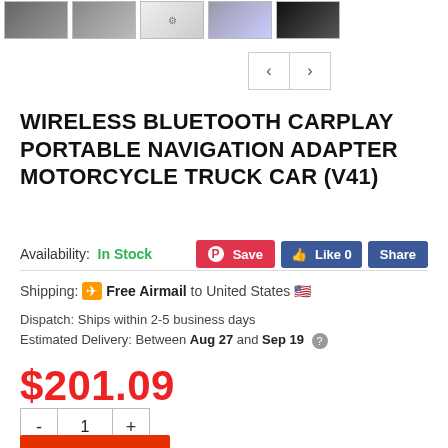[Figure (screenshot): Product thumbnail images row showing 5 product photos of a wireless bluetooth carplay adapter]
< >
WIRELESS BLUETOOTH CARPLAY PORTABLE NAVIGATION ADAPTER MOTORCYCLE TRUCK CAR (V41)
Availability:  In Stock
Save  Like 0  Share
Shipping: ✈ Free Airmail to United States 🇺🇸
Dispatch: Ships within 2-5 business days
Estimated Delivery: Between Aug 27 and Sep 19 ?
$201.09
- 1 +
ADD TO CART